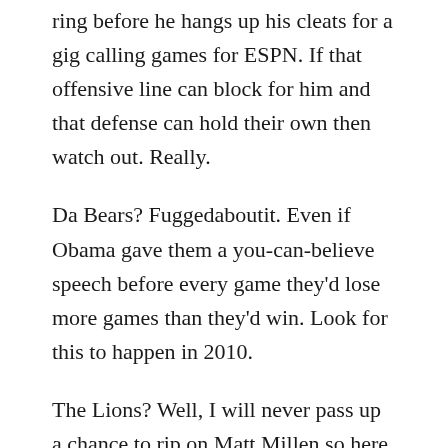ring before he hangs up his cleats for a gig calling games for ESPN. If that offensive line can block for him and that defense can hold their own then watch out. Really.
Da Bears? Fuggedaboutit. Even if Obama gave them a you-can-believe speech before every game they'd lose more games than they'd win. Look for this to happen in 2010.
The Lions? Well, I will never pass up a chance to rip on Matt Millen so here it goes: yeah, I know that bloated jock pig is not on their payroll anymore, but his short-sighted, dimwitted, boneheaded vision of football